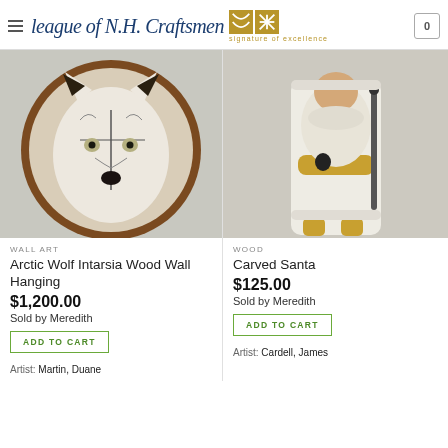League of N.H. Craftsmen — signature of excellence
[Figure (photo): Arctic Wolf Intarsia Wood Wall Hanging — wood intarsia artwork of a white wolf face mounted in a circular walnut frame]
WALL ART
Arctic Wolf Intarsia Wood Wall Hanging
$1,200.00
Sold by Meredith
ADD TO CART
Artist: Martin, Duane
[Figure (photo): Carved Santa — white painted carved wooden Santa Claus figure with golden rope belt and staff, holding a heart]
WOOD
Carved Santa
$125.00
Sold by Meredith
ADD TO CART
Artist: Cardell, James